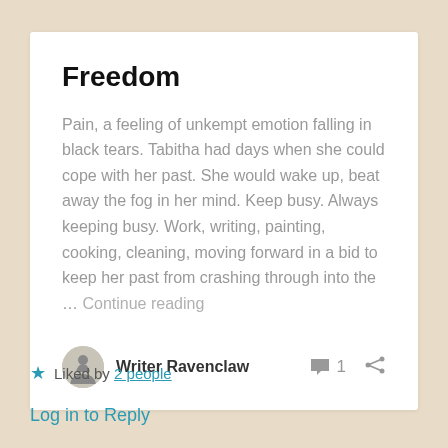Freedom
Pain, a feeling of unkempt emotion falling in black tears. Tabitha had days when she could cope with her past. She would wake up, beat away the fog in her mind. Keep busy. Always keeping busy. Work, writing, painting, cooking, cleaning, moving forward in a bid to keep her past from crashing through into the … Continue reading
Writer Ravenclaw
Liked by 2 people
Log in to Reply